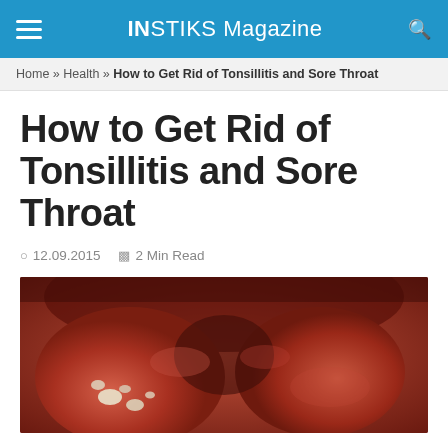INSTIKS Magazine
Home » Health » How to Get Rid of Tonsillitis and Sore Throat
How to Get Rid of Tonsillitis and Sore Throat
12.09.2015   2 Min Read
[Figure (photo): Close-up medical photo of inflamed tonsils with white spots/exudate visible on inflamed tonsillar tissue]